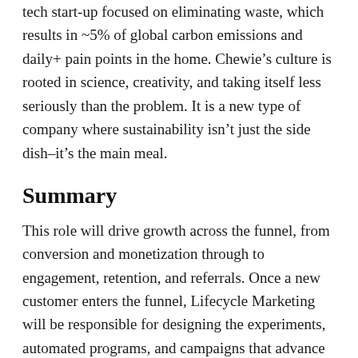tech start-up focused on eliminating waste, which results in ~5% of global carbon emissions and daily+ pain points in the home. Chewie's culture is rooted in science, creativity, and taking itself less seriously than the problem. It is a new type of company where sustainability isn't just the side dish–it's the main meal.
Summary
This role will drive growth across the funnel, from conversion and monetization through to engagement, retention, and referrals. Once a new customer enters the funnel, Lifecycle Marketing will be responsible for designing the experiments, automated programs, and campaigns that advance them along the customer journey and deepen their relationship with Chewie. Early on, focus channels include email, web, SMS, push. Later on...you'll help define that. This highly